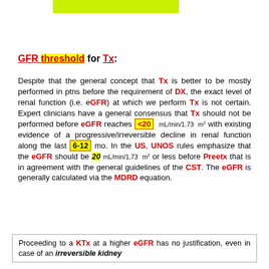[Figure (other): Green/lime colored bar at top of page]
GFR threshold for Tx:
Despite that the general concept that Tx is better to be mostly performed in ptns before the requirement of DX, the exact level of renal function (i.e. eGFR) at which we perform Tx is not certain. Expert clinicians have a general consensus that Tx should not be performed before eGFR reaches <20 mL/min/1.73 m2 with existing evidence of a progressive/irreversible decline in renal function along the last 6-12 mo. In the US, UNOS rules emphasize that the eGFR should be 20 mL/min/1.73 m2 or less before Preetx that is in agreement with the general guidelines of the CST. The eGFR is generally calculated via the MDRD equation.
Proceeding to a KTx at a higher eGFR has no justification, even in case of an irreversible kidney ...